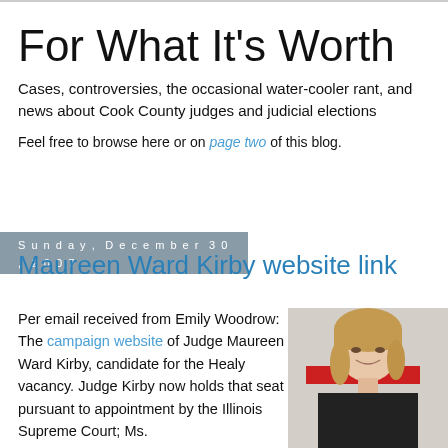For What It's Worth
Cases, controversies, the occasional water-cooler rant, and news about Cook County judges and judicial elections
Feel free to browse here or on page two of this blog.
Sunday, December 30, 2007
Maureen Ward Kirby website link
Per email received from Emily Woodrow: The campaign website of Judge Maureen Ward Kirby, candidate for the Healy vacancy. Judge Kirby now holds that seat pursuant to appointment by the Illinois Supreme Court; Ms.
[Figure (photo): Headshot photo of Judge Maureen Ward Kirby, a woman with blonde hair, smiling, wearing dark clothing, with a red horizontal stripe element in the background]